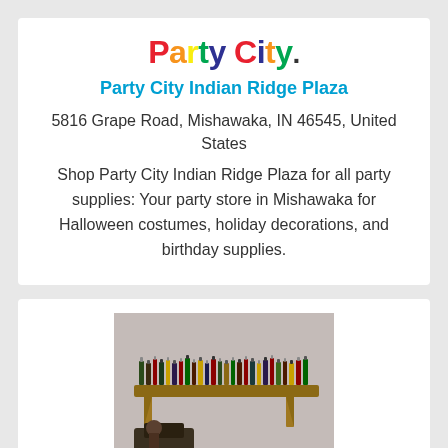Party City.
Party City Indian Ridge Plaza
5816 Grape Road, Mishawaka, IN 46545, United States
Shop Party City Indian Ridge Plaza for all party supplies: Your party store in Mishawaka for Halloween costumes, holiday decorations, and birthday supplies.
[Figure (photo): A shelf mounted on a wall holding numerous small bottles, likely decorative miniature liquor bottles, with ornate bracket supports. Dark items visible below the shelf.]